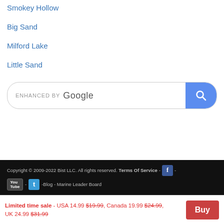Smokey Hollow
Big Sand
Milford Lake
Little Sand
[Figure (screenshot): Enhanced by Google search bar with blue search button]
Copyright © 2009-2022 Bist LLC. All rights reserved. Terms Of Service - [Facebook icon] - [YouTube icon] - [Twitter icon] -Blog - Marine Leader Board
Limited time sale - USA 14.99 $19.99, Canada 19.99 $24.99, UK 24.99 $31.99